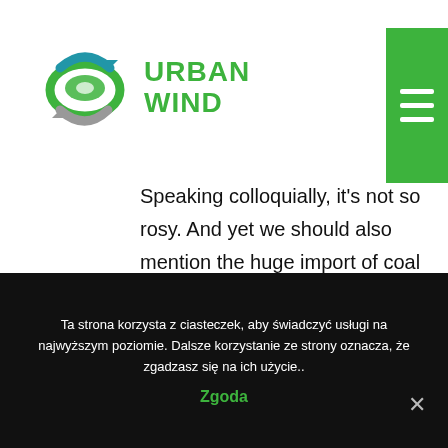[Figure (logo): Urban Wind logo with circular arrows icon and green text reading URBAN WIND]
Speaking colloquially, it's not so rosy. And yet we should also mention the huge import of coal from abroad, including Russia, according to data from Business Insider Polska – 13.47 million tonnes. Polish mines extracted approximately 63 million tonnes in 2018.
Ta strona korzysta z ciasteczek, aby świadczyć usługi na najwyższym poziomie. Dalsze korzystanie ze strony oznacza, że zgadzasz się na ich użycie.. Zgoda